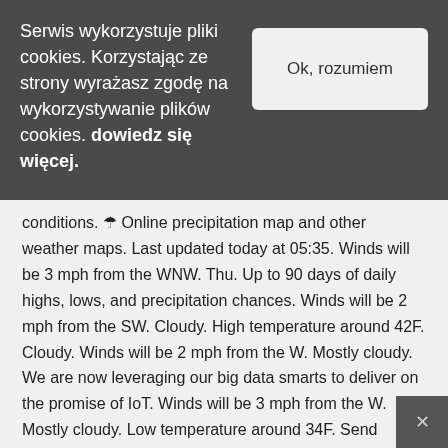Serwis wykorzystuje pliki cookies. Korzystając ze strony wyrażasz zgodę na wykorzystywanie plików cookies. dowiedz się więcej.
Ok, rozumiem
conditions. 🌂 Online precipitation map and other weather maps. Last updated today at 05:35. Winds will be 3 mph from the WNW. Thu. Up to 90 days of daily highs, lows, and precipitation chances. Winds will be 2 mph from the SW. Cloudy. High temperature around 42F. Cloudy. Winds will be 2 mph from the W. Mostly cloudy. We are now leveraging our big data smarts to deliver on the promise of IoT. Winds will be 3 mph from the W. Mostly cloudy. Low temperature around 34F. Send feedback! Winds will be 1 mph from the SE. Dew point will be around 34F with an average humidity of 98%. Low temperature around 30F. Long range weather outlook for Ljubljana includes 14 day forecast summary: Reviewing the forecast for Ljubljana Over the next 14 days and the average